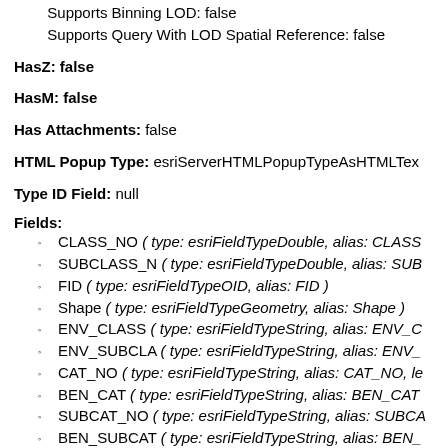Supports Binning LOD: false
Supports Query With LOD Spatial Reference: false
HasZ: false
HasM: false
Has Attachments: false
HTML Popup Type: esriServerHTMLPopupTypeAsHTMLTex
Type ID Field: null
Fields:
CLASS_NO ( type: esriFieldTypeDouble, alias: CLASS...
SUBCLASS_N ( type: esriFieldTypeDouble, alias: SUB...
FID ( type: esriFieldTypeOID, alias: FID )
Shape ( type: esriFieldTypeGeometry, alias: Shape )
ENV_CLASS ( type: esriFieldTypeString, alias: ENV_C...
ENV_SUBCLA ( type: esriFieldTypeString, alias: ENV_...
CAT_NO ( type: esriFieldTypeString, alias: CAT_NO, le...
BEN_CAT ( type: esriFieldTypeString, alias: BEN_CAT...
SUBCAT_NO ( type: esriFieldTypeString, alias: SUBCA...
BEN_SUBCAT ( type: esriFieldTypeString, alias: BEN_...
BEN_ID ( type: esriFieldTypeString, alias: BEN_ID, len...
NAICS_CODE ( type: esriFieldTypeString, alias: NAIC...